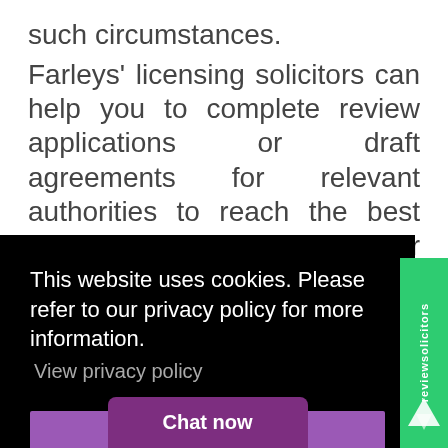such circumstances.
Farleys' licensing solicitors can help you to complete review applications or draft agreements for relevant authorities to reach the best possible outcome for your licensed business from your enforcement action.
This website uses cookies. Please refer to our privacy policy for more information. View privacy policy
Got it!
Chat now